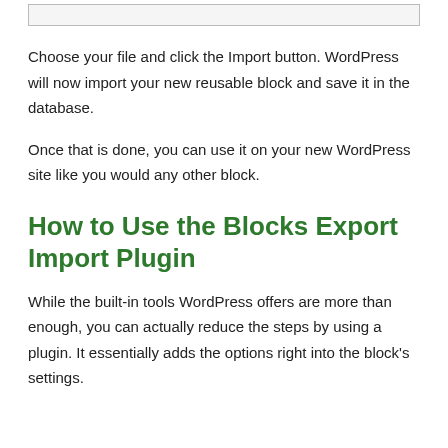[Figure (screenshot): A UI input box element shown at the top of the page]
Choose your file and click the Import button. WordPress will now import your new reusable block and save it in the database.
Once that is done, you can use it on your new WordPress site like you would any other block.
How to Use the Blocks Export Import Plugin
While the built-in tools WordPress offers are more than enough, you can actually reduce the steps by using a plugin. It essentially adds the options right into the block's settings.